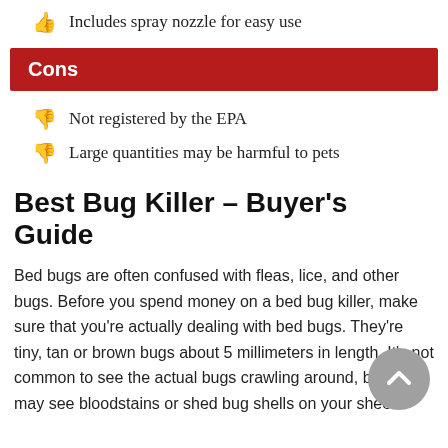Includes spray nozzle for easy use
Cons
Not registered by the EPA
Large quantities may be harmful to pets
Best Bug Killer – Buyer's Guide
Bed bugs are often confused with fleas, lice, and other bugs. Before you spend money on a bed bug killer, make sure that you're actually dealing with bed bugs. They're tiny, tan or brown bugs about 5 millimeters in length. It's not common to see the actual bugs crawling around, but you may see bloodstains or shed bug shells on your sheets